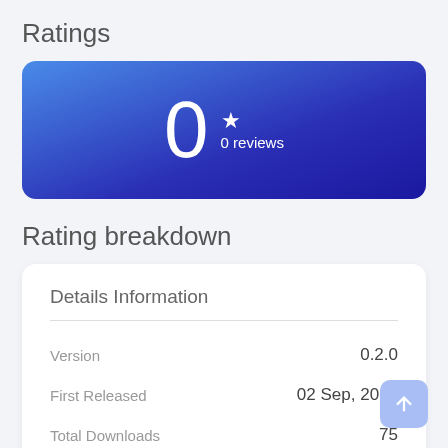Ratings
[Figure (infographic): Blue gradient banner showing rating of 0 stars with 0 reviews]
Rating breakdown
|  |  |
| --- | --- |
| Details Information |  |
| Version | 0.2.0 |
| First Released | 02 Sep, 2019 |
| Total Downloads | 75 |